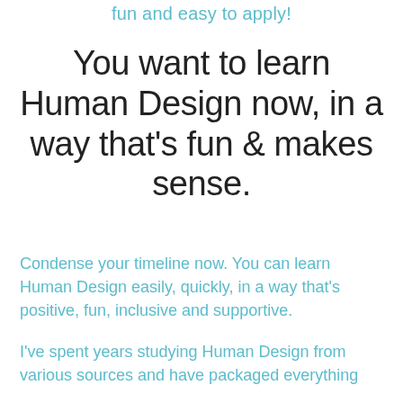fun and easy to apply!
You want to learn Human Design now, in a way that's fun & makes sense.
Condense your timeline now. You can learn Human Design easily, quickly, in a way that's positive, fun, inclusive and supportive.
I've spent years studying Human Design from various sources and have packaged everything